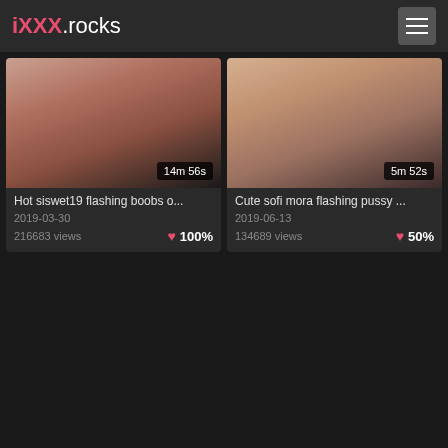iXXX.rocks
[Figure (screenshot): Video thumbnail left - Hot siswet19 flashing boobs, duration 14m 56s]
Hot siswet19 flashing boobs o...
2019-03-30
216683 views 100%
[Figure (screenshot): Video thumbnail right - Cute sofi mora flashing pussy, duration 5m 52s]
Cute sofi mora flashing pussy ...
2019-06-13
134689 views 50%